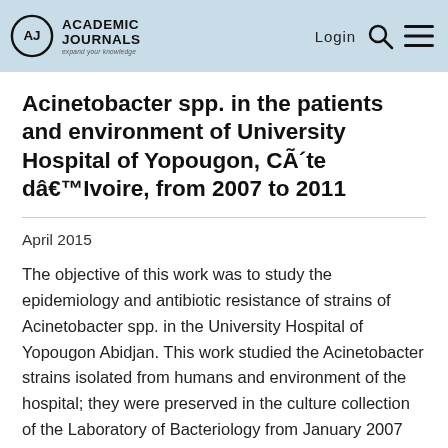Academic Journals — expand your knowledge | Login
Acinetobacter spp. in the patients and environment of University Hospital of Yopougon, CÃ´te dâ€™Ivoire, from 2007 to 2011
April 2015
The objective of this work was to study the epidemiology and antibiotic resistance of strains of Acinetobacter spp. in the University Hospital of Yopougon Abidjan. This work studied the Acinetobacter strains isolated from humans and environment of the hospital; they were preserved in the culture collection of the Laboratory of Bacteriology from January 2007